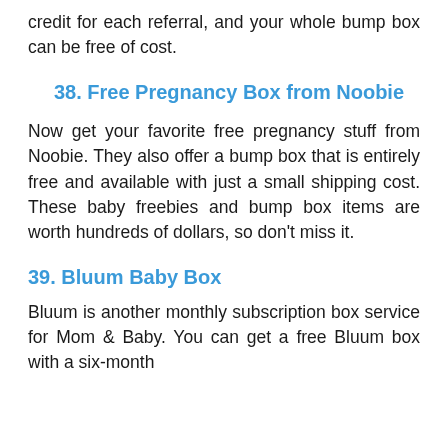credit for each referral, and your whole bump box can be free of cost.
38. Free Pregnancy Box from Noobie
Now get your favorite free pregnancy stuff from Noobie. They also offer a bump box that is entirely free and available with just a small shipping cost. These baby freebies and bump box items are worth hundreds of dollars, so don't miss it.
39. Bluum Baby Box
Bluum is another monthly subscription box service for Mom & Baby. You can get a free Bluum box with a six-month